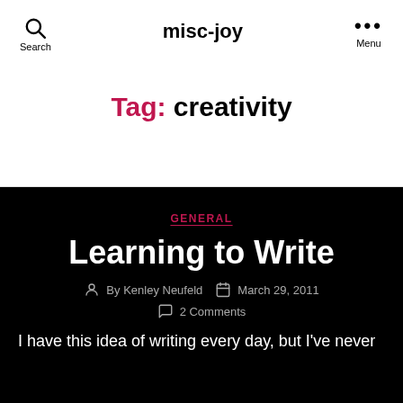misc-joy
Tag: creativity
GENERAL
Learning to Write
By Kenley Neufeld   March 29, 2011   2 Comments
I have this idea of writing every day, but I've never